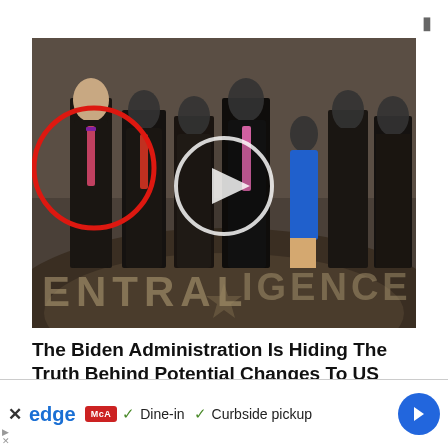[Figure (photo): Group photo of suited individuals standing in the CIA headquarters lobby, visible CIA seal on the floor. One person on the left is circled in red. A video play button overlay is shown in the center.]
The Biden Administration Is Hiding The Truth Behind Potential Changes To US Dollar
Sponsored Content: Currency upheavals happen about ever... redict the third Great Dollar Earthquake...
[Figure (screenshot): Advertisement banner: Edge browser ad with McDonald's logo, checkmarks for 'Dine-in' and 'Curbside pickup', and a blue navigation arrow icon.]